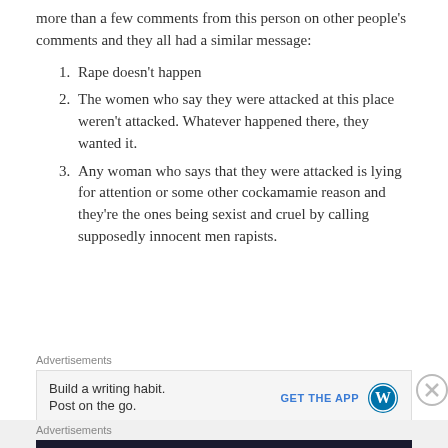more than a few comments from this person on other people's comments and they all had a similar message:
Rape doesn't happen
The women who say they were attacked at this place weren't attacked. Whatever happened there, they wanted it.
Any woman who says that they were attacked is lying for attention or some other cockamamie reason and they're the ones being sexist and cruel by calling supposedly innocent men rapists.
Advertisements
[Figure (screenshot): WordPress app advertisement: 'Build a writing habit. Post on the go.' with GET THE APP button and WordPress logo]
Advertisements
[Figure (screenshot): WordPress course advertisement: 'Launch your online course with WordPress' with Learn More button and icon]